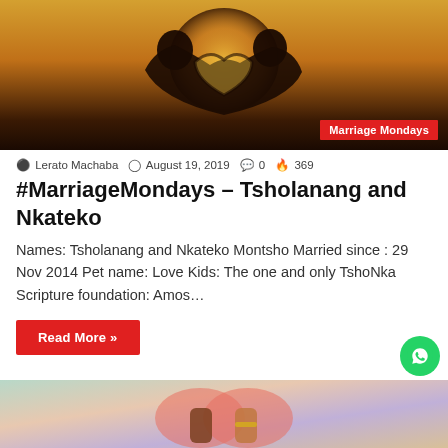[Figure (photo): Silhouette of a couple forming a heart shape with their hands against a sunset sky, with a 'Marriage Mondays' badge in the bottom right corner]
Lerato Machaba  August 19, 2019  0  369
#MarriageMondays – Tsholanang and Nkateko
Names: Tsholanang and Nkateko Montsho Married since : 29 Nov 2014 Pet name: Love Kids: The one and only TshoNka Scripture foundation: Amos…
Read More »
[Figure (photo): Bottom portion of another article image showing two people holding hands with colorful background]